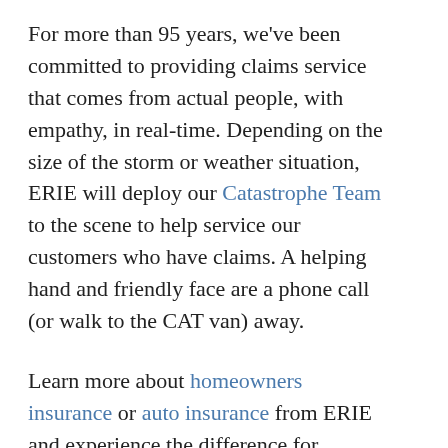For more than 95 years, we've been committed to providing claims service that comes from actual people, with empathy, in real-time. Depending on the size of the storm or weather situation, ERIE will deploy our Catastrophe Team to the scene to help service our customers who have claims. A helping hand and friendly face are a phone call (or walk to the CAT van) away.
Learn more about homeowners insurance or auto insurance from ERIE and experience the difference for yourself.
The Centers for Disease Control and Prevention reports that 48% of Americans do not have emergency kit supplies.